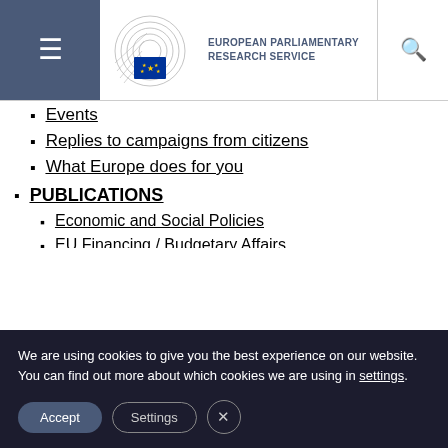[Figure (logo): European Parliamentary Research Service logo with EU flag emblem and circular design]
Events
Replies to campaigns from citizens
What Europe does for you
PUBLICATIONS
Economic and Social Policies
EU Financing / Budgetary Affairs
Institutional and Legal Affairs
International Relations
Policy Cycle
Structural and Cohesion Policies
SOCIAL MEDIA
We are using cookies to give you the best experience on our website.
You can find out more about which cookies we are using in settings.